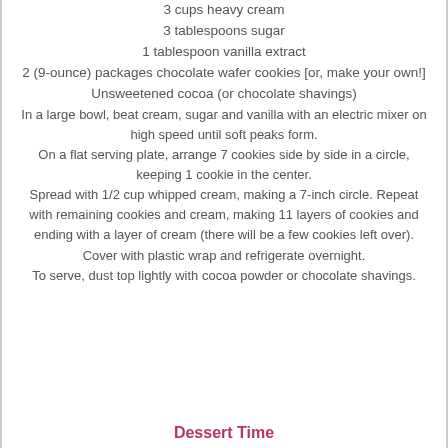3 cups heavy cream
3 tablespoons sugar
1 tablespoon vanilla extract
2 (9-ounce) packages chocolate wafer cookies [or, make your own!]
Unsweetened cocoa (or chocolate shavings)
In a large bowl, beat cream, sugar and vanilla with an electric mixer on high speed until soft peaks form.
On a flat serving plate, arrange 7 cookies side by side in a circle, keeping 1 cookie in the center.
Spread with 1/2 cup whipped cream, making a 7-inch circle. Repeat with remaining cookies and cream, making 11 layers of cookies and ending with a layer of cream (there will be a few cookies left over). Cover with plastic wrap and refrigerate overnight.
To serve, dust top lightly with cocoa powder or chocolate shavings.
Dessert Time